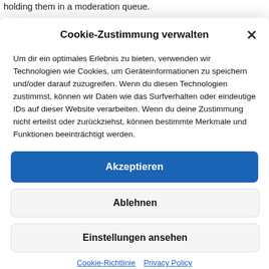holding them in a moderation queue.
For users that register on our website (if any), we also store the personal information they provide in their user profile. All users...
Cookie-Zustimmung verwalten
Um dir ein optimales Erlebnis zu bieten, verwenden wir Technologien wie Cookies, um Geräteinformationen zu speichern und/oder darauf zuzugreifen. Wenn du diesen Technologien zustimmst, können wir Daten wie das Surfverhalten oder eindeutige IDs auf dieser Website verarbeiten. Wenn du deine Zustimmung nicht erteilst oder zurückziehst, können bestimmte Merkmale und Funktionen beeinträchtigt werden.
Akzeptieren
Ablehnen
Einstellungen ansehen
Cookie-Richtlinie  Privacy Policy